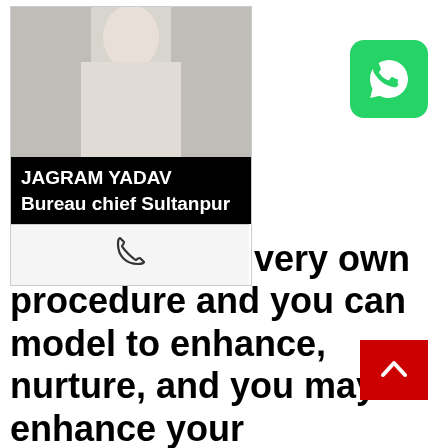[Figure (photo): Profile card showing a person's photo with black name plate reading 'JAGRAM YADAV Bureau chief Sultanpur', a phone icon below, and a WhatsApp green button on the right]
Creating your very own procedure and you can model to enhance, nurture, and you may enhance your relationships get inhale new lease of life into the relationship and set your into a path to being together